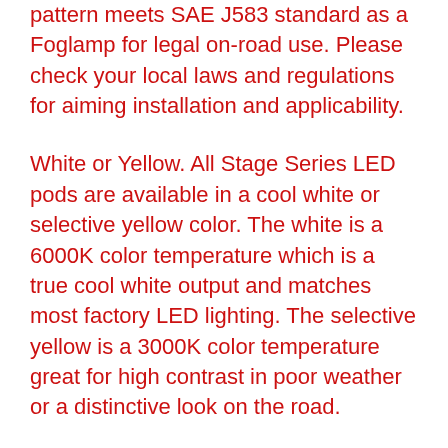pattern meets SAE J583 standard as a Foglamp for legal on-road use. Please check your local laws and regulations for aiming installation and applicability.
White or Yellow. All Stage Series LED pods are available in a cool white or selective yellow color. The white is a 6000K color temperature which is a true cool white output and matches most factory LED lighting. The selective yellow is a 3000K color temperature great for high contrast in poor weather or a distinctive look on the road.
Sport or Pro. Stage Series LED pods are available at two different power levels. Both options use high-intensity LED emitters and TIR optics for unmatched focus and overall output. However the Pro option is double the amount of total power